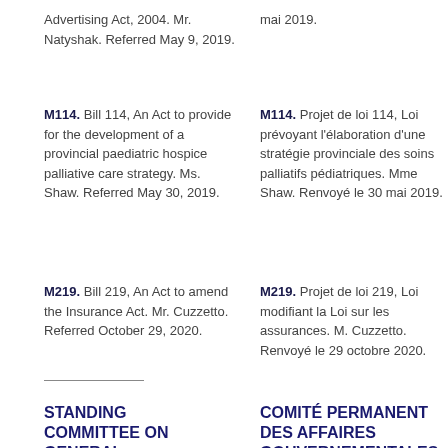Advertising Act, 2004. Mr. Natyshak. Referred May 9, 2019.
mai 2019.
M114. Bill 114, An Act to provide for the development of a provincial paediatric hospice palliative care strategy. Ms. Shaw. Referred May 30, 2019.
M114. Projet de loi 114, Loi prévoyant l'élaboration d'une stratégie provinciale des soins palliatifs pédiatriques. Mme Shaw. Renvoyé le 30 mai 2019.
M219. Bill 219, An Act to amend the Insurance Act. Mr. Cuzzetto. Referred October 29, 2020.
M219. Projet de loi 219, Loi modifiant la Loi sur les assurances. M. Cuzzetto. Renvoyé le 29 octobre 2020.
STANDING COMMITTEE ON GENERAL
COMITÉ PERMANENT DES AFFAIRES GOUVERNEMENTALES